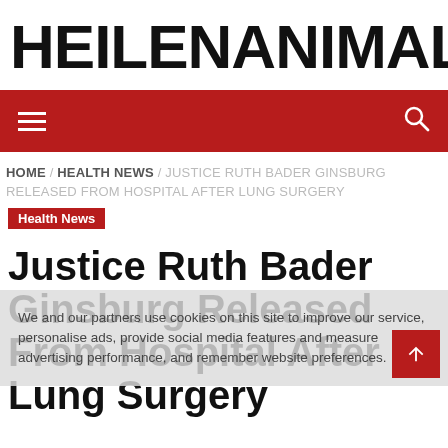HEILENANIMALHE
[Figure (screenshot): Red navigation bar with hamburger menu icon on left and search icon on right]
HOME / HEALTH NEWS / JUSTICE RUTH BADER GINSBURG RELEASED FROM HOSPITAL AFTER LUNG SURGERY
Health News
Justice Ruth Bader Ginsburg Released From Hospital After Lung Surgery
We and our partners use cookies on this site to improve our service, personalise ads, provide social media features and measure advertising performance, and remember website preferences.